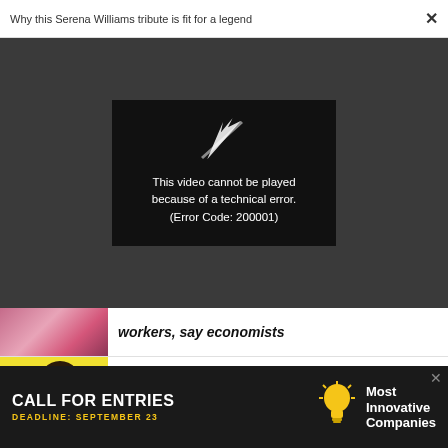Why this Serena Williams tribute is fit for a legend  ×
[Figure (screenshot): Video player showing error message: 'This video cannot be played because of a technical error. (Error Code: 200001)' on dark background with broken play icon]
workers, say economists
TECHNOLOGY
This is how Snap is fostering the future of augmented reality
[Figure (photo): Illustrated portrait of a woman with dark hair on yellow background]
[Figure (infographic): Advertisement banner: CALL FOR ENTRIES DEADLINE: SEPTEMBER 23 - Most Innovative Companies]